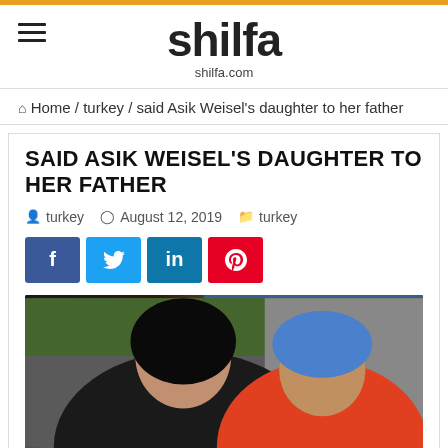shilfa — shilfa.com
🏠 Home / turkey / said Asik Weisel's daughter to her father
SAID ASIK WEISEL'S DAUGHTER TO HER FATHER
turkey  August 12, 2019  turkey
[Figure (photo): Two people posing together: a young woman with dark hair on the left smiling, and an older person wearing a blue hat and orange jacket on the right, with a green background.]